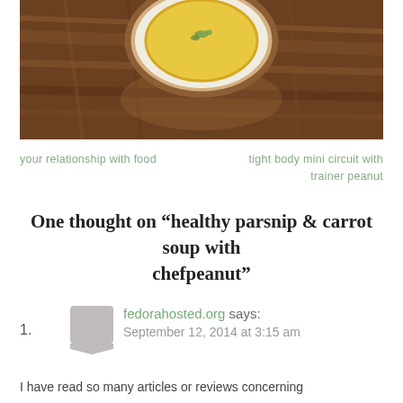[Figure (photo): Photo of a bowl of soup (parsnip and carrot) on a wooden table, viewed from above. The bowl has a brown rim and contains yellow-orange soup with green garnish.]
your relationship with food  tight body mini circuit with trainer peanut
One thought on “healthy parsnip & carrot soup with chefpeanut”
fedorahosted.org says:
September 12, 2014 at 3:15 am
I have read so many articles or reviews concerning